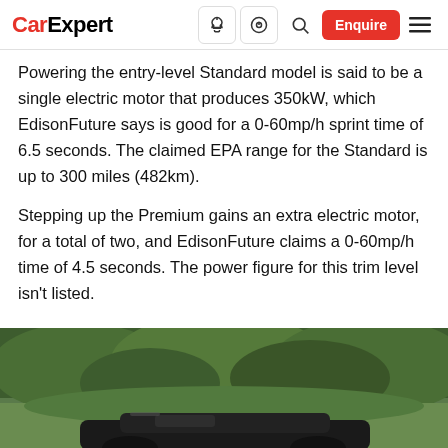CarExpert
Powering the entry-level Standard model is said to be a single electric motor that produces 350kW, which EdisonFuture says is good for a 0-60mp/h sprint time of 6.5 seconds. The claimed EPA range for the Standard is up to 300 miles (482km).
Stepping up the Premium gains an extra electric motor, for a total of two, and EdisonFuture claims a 0-60mp/h time of 4.5 seconds. The power figure for this trim level isn't listed.
[Figure (photo): A dark-coloured vehicle photographed outdoors, partially visible at the bottom, surrounded by green bushes and trees in a natural landscape.]